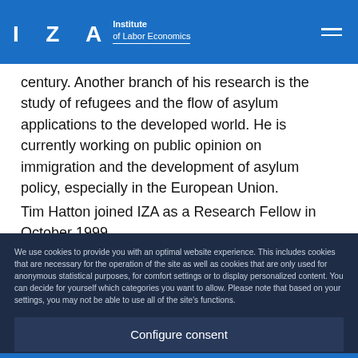IZA Institute of Labor Economics
century. Another branch of his research is the study of refugees and the flow of asylum applications to the developed world. He is currently working on public opinion on immigration and the development of asylum policy, especially in the European Union.
Tim Hatton joined IZA as a Research Fellow in October 1999.
File
We use cookies to provide you with an optimal website experience. This includes cookies that are necessary for the operation of the site as well as cookies that are only used for anonymous statistical purposes, for comfort settings or to display personalized content. You can decide for yourself which categories you want to allow. Please note that based on your settings, you may not be able to use all of the site's functions.
Configure consent
Accept all